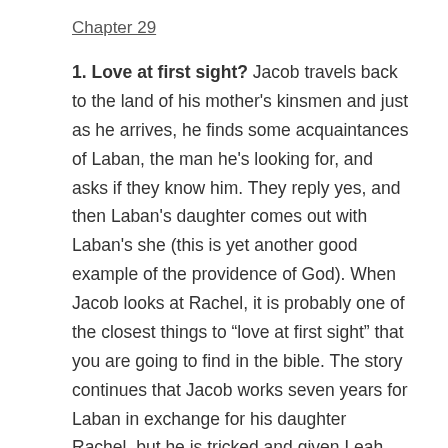Chapter 29
1. Love at first sight? Jacob travels back to the land of his mother's kinsmen and just as he arrives, he finds some acquaintances of Laban, the man he's looking for, and asks if they know him. They reply yes, and then Laban's daughter comes out with Laban's she (this is yet another good example of the providence of God). When Jacob looks at Rachel, it is probably one of the closest things to “love at first sight” that you are going to find in the bible. The story continues that Jacob works seven years for Laban in exchange for his daughter Rachel, but he is tricked and given Leah, Laban's oldest daughter, instead and has to work seven more years in exchange for Rachel (though Rachel is given to him before Jacob starts his second set of seven years). But the years of work he served for